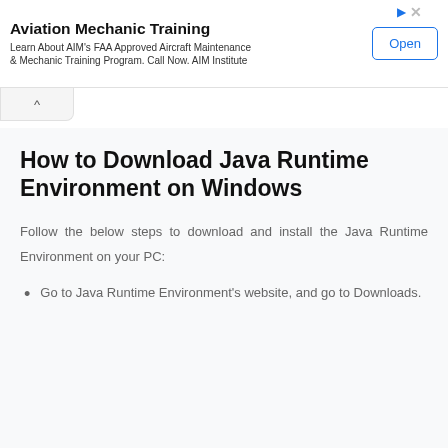[Figure (screenshot): Advertisement banner for Aviation Mechanic Training with title, description text, and 'Open' button]
How to Download Java Runtime Environment on Windows
Follow the below steps to download and install the Java Runtime Environment on your PC:
Go to Java Runtime Environment's website, and go to Downloads.